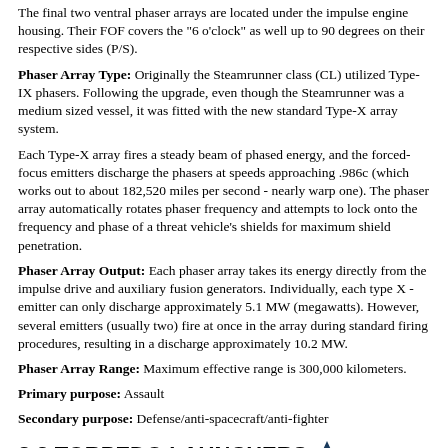The final two ventral phaser arrays are located under the impulse engine housing. Their FOF covers the "6 o'clock" as well up to 90 degrees on their respective sides (P/S).
Phaser Array Type: Originally the Steamrunner class (CL) utilized Type-IX phasers. Following the upgrade, even though the Steamrunner was a medium sized vessel, it was fitted with the new standard Type-X array system.
Each Type-X array fires a steady beam of phased energy, and the forced-focus emitters discharge the phasers at speeds approaching .986c (which works out to about 182,520 miles per second - nearly warp one). The phaser array automatically rotates phaser frequency and attempts to lock onto the frequency and phase of a threat vehicle's shields for maximum shield penetration.
Phaser Array Output: Each phaser array takes its energy directly from the impulse drive and auxiliary fusion generators. Individually, each type X -emitter can only discharge approximately 5.1 MW (megawatts). However, several emitters (usually two) fire at once in the array during standard firing procedures, resulting in a discharge approximately 10.2 MW.
Phaser Array Range: Maximum effective range is 300,000 kilometers.
Primary purpose: Assault
Secondary purpose: Defense/anti-spacecraft/anti-fighter
3.2 TORPEDO LAUNCHERS